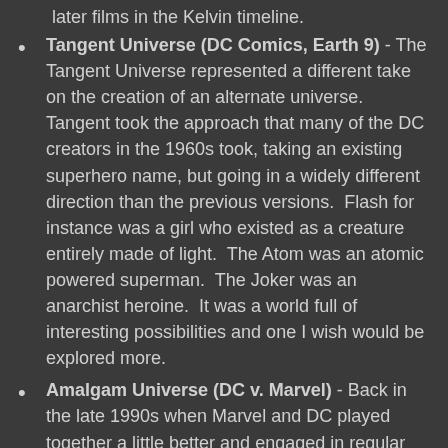later films in the Kelvin timeline.
Tangent Universe (DC Comics, Earth 9) - The Tangent Universe represented a different take on the creation of an alternate universe. Tangent took the approach that many of the DC creators in the 1960s took, taking an existing superhero name, but going in a widely different direction than the previous versions. Flash for instance was a girl who existed as a creature entirely made of light. The Atom was an atomic powered superman. The Joker was an anarchist heroine. It was a world full of interesting possibilities and one I wish would be explored more.
Amalgam Universe (DC v. Marvel) - Back in the late 1990s when Marvel and DC played together a little better and engaged in regular crossovers, the company decided to pull out all the stops with a DC vs. Marvel event. The event culminated with the Amalgam Universe, one where the DC and Marvel universes were combined into a